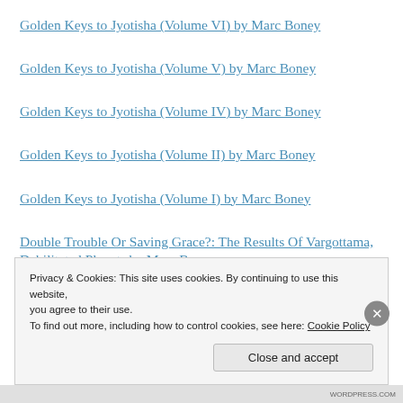Golden Keys to Jyotisha (Volume VI) by Marc Boney
Golden Keys to Jyotisha (Volume V) by Marc Boney
Golden Keys to Jyotisha (Volume IV) by Marc Boney
Golden Keys to Jyotisha (Volume II) by Marc Boney
Golden Keys to Jyotisha (Volume I) by Marc Boney
Double Trouble Or Saving Grace?: The Results Of Vargottama, Debilitated Planets by Marc Boney
Privacy & Cookies: This site uses cookies. By continuing to use this website, you agree to their use.
To find out more, including how to control cookies, see here: Cookie Policy
Close and accept